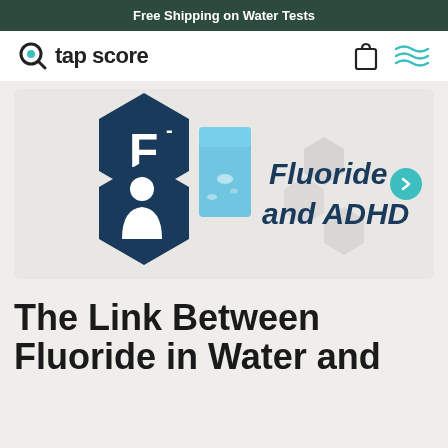Free Shipping on Water Tests
[Figure (logo): Tap Score logo with magnifying glass icon and text 'tap score']
[Figure (illustration): Fluoride and ADHD hero image showing hexagonal icons with F- symbol, child silhouette, glass of water, and bold italic text 'Fluoride and ADHD']
The Link Between Fluoride in Water and